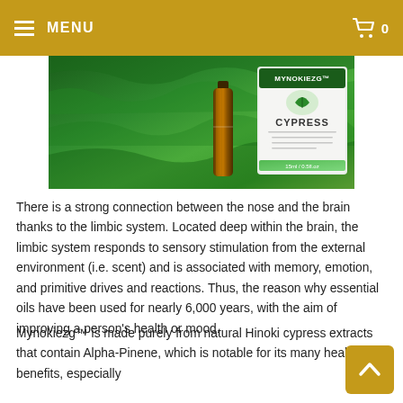≡ MENU   🛒 0
[Figure (photo): Product photo showing cypress tree foliage in green background with an amber essential oil bottle and a product label reading MYNOKIEZG™ CYPRESS]
There is a strong connection between the nose and the brain thanks to the limbic system. Located deep within the brain, the limbic system responds to sensory stimulation from the external environment (i.e. scent) and is associated with memory, emotion, and primitive drives and reactions. Thus, the reason why essential oils have been used for nearly 6,000 years, with the aim of improving a person's health or mood.
Mynokiezg™ is made purely from natural Hinoki cypress extracts that contain Alpha-Pinene, which is notable for its many health benefits, especially